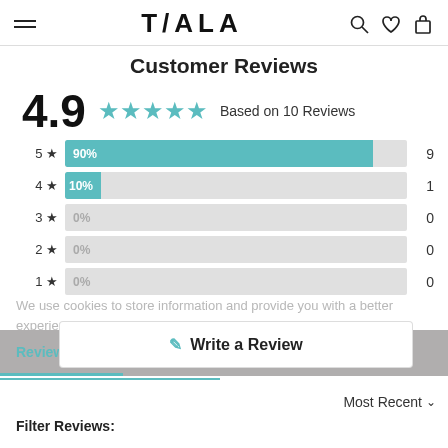TALA
Customer Reviews
4.9 ★★★★★ Based on 10 Reviews
[Figure (bar-chart): Rating distribution]
We use cookies to store information and provide you with a better experience. By clicking "Accept", you agree on our use of cookies. Learn more
✎ Write a Review
Reviews 10   Accept
Most Recent
Filter Reviews: